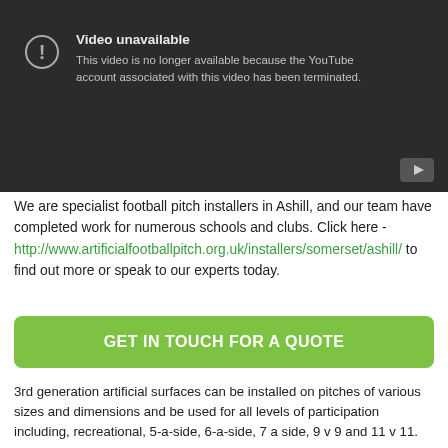[Figure (screenshot): YouTube video unavailable error screen with dark background showing exclamation icon, 'Video unavailable' title, and error message that the account has been terminated. A YouTube play button icon is in the bottom right corner.]
We are specialist football pitch installers in Ashill, and our team have completed work for numerous schools and clubs. Click here - http://www.artificialfootballpitch.org.uk/installers/somerset/ashill/ to find out more or speak to our experts today.
GET IN TOUCH FOR A QUOTE
3rd generation artificial surfaces can be installed on pitches of various sizes and dimensions and be used for all levels of participation including, recreational, 5-a-side, 6-a-side, 7 a side, 9 v 9 and 11 v 11.